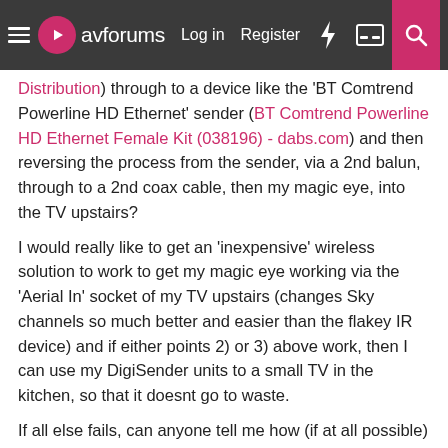avforums | Log in | Register
Distribution) through to a device like the 'BT Comtrend Powerline HD Ethernet' sender (BT Comtrend Powerline HD Ethernet Female Kit (038196) - dabs.com) and then reversing the process from the sender, via a 2nd balun, through to a 2nd coax cable, then my magic eye, into the TV upstairs?
I would really like to get an 'inexpensive' wireless solution to work to get my magic eye working via the 'Aerial In' socket of my TV upstairs (changes Sky channels so much better and easier than the flakey IR device) and if either points 2) or 3) above work, then I can use my DigiSender units to a small TV in the kitchen, so that it doesnt go to waste.
If all else fails, can anyone tell me how (if at all possible) I can get my magic eye to change sky channels getting a signal back to my Sky+ HD box (not via laying a cable throughout my home lol) and if that is not possible, how to make the IR device from my digisender work more efficiently 🙂 (I have read and watched all the support documentation for the device and have